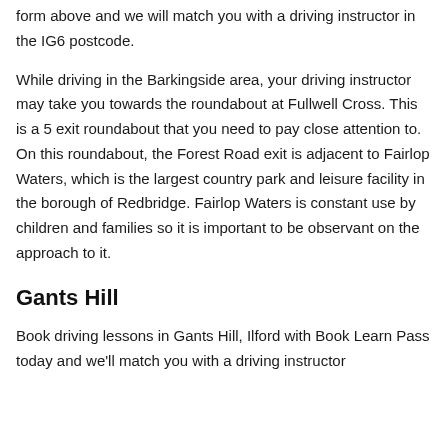form above and we will match you with a driving instructor in the IG6 postcode.
While driving in the Barkingside area, your driving instructor may take you towards the roundabout at Fullwell Cross. This is a 5 exit roundabout that you need to pay close attention to. On this roundabout, the Forest Road exit is adjacent to Fairlop Waters, which is the largest country park and leisure facility in the borough of Redbridge. Fairlop Waters is constant use by children and families so it is important to be observant on the approach to it.
Gants Hill
Book driving lessons in Gants Hill, Ilford with Book Learn Pass today and we'll match you with a driving instructor near the Gants Hill area within 24 hours. Matched with